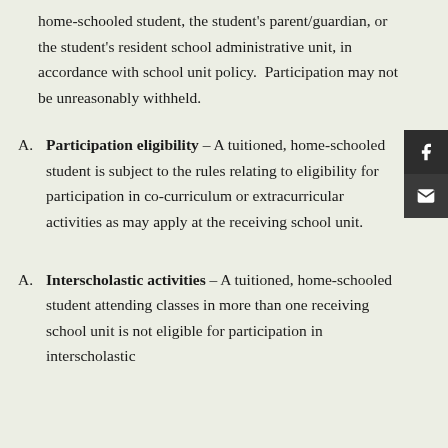home-schooled student, the student's parent/guardian, or the student's resident school administrative unit, in accordance with school unit policy. Participation may not be unreasonably withheld.
Participation eligibility – A tuitioned, home-schooled student is subject to the rules relating to eligibility for participation in co-curriculum or extracurricular activities as may apply at the receiving school unit.
Interscholastic activities – A tuitioned, home-schooled student attending classes in more than one receiving school unit is not eligible for participation in interscholastic